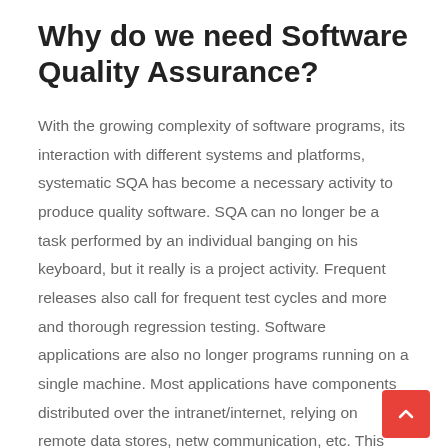Why do we need Software Quality Assurance?
With the growing complexity of software programs, its interaction with different systems and platforms, systematic SQA has become a necessary activity to produce quality software. SQA can no longer be a task performed by an individual banging on his keyboard, but it really is a project activity. Frequent releases also call for frequent test cycles and more and thorough regression testing. Software applications are also no longer programs running on a single machine. Most applications have components distributed over the intranet/internet, relying on remote data stores, netw communication, etc. This nature of the applications also